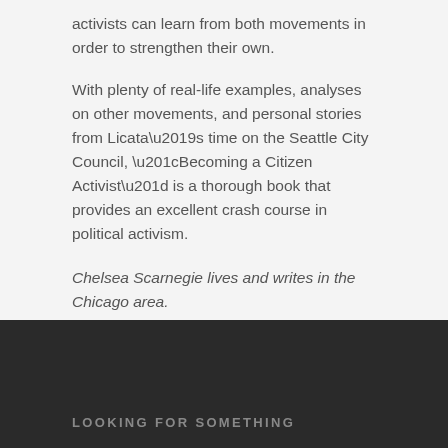activists can learn from both movements in order to strengthen their own.
With plenty of real-life examples, analyses on other movements, and personal stories from Licata’s time on the Seattle City Council, “Becoming a Citizen Activist” is a thorough book that provides an excellent crash course in political activism.
Chelsea Scarnegie lives and writes in the Chicago area.
LOOKING FOR SOMETHING